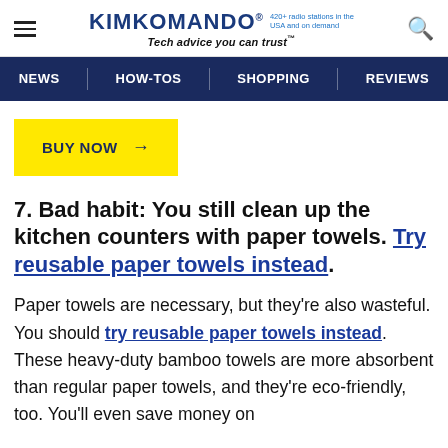KIMKOMANDO® 420+ radio stations in the USA and on demand — Tech advice you can trust™
NEWS | HOW-TOS | SHOPPING | REVIEWS
[Figure (other): Yellow BUY NOW button with arrow]
7. Bad habit: You still clean up the kitchen counters with paper towels. Try reusable paper towels instead.
Paper towels are necessary, but they're also wasteful. You should try reusable paper towels instead. These heavy-duty bamboo towels are more absorbent than regular paper towels, and they're eco-friendly, too. You'll even save money on